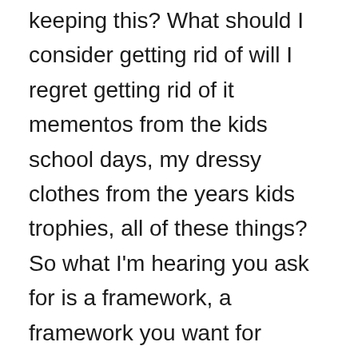keeping this? What should I consider getting rid of will I regret getting rid of it mementos from the kids school days, my dressy clothes from the years kids trophies, all of these things? So what I'm hearing you ask for is a framework, a framework you want for decision making. And I think this is incredibly powerful. When we have a framework on what we're going to keep almost like a flowchart. Imagine that, like imagine a flowchart that you could just refer to, in the moment when you are looking at an item, and you start going through all these questions in your mind, should I let this go? Do I use it?